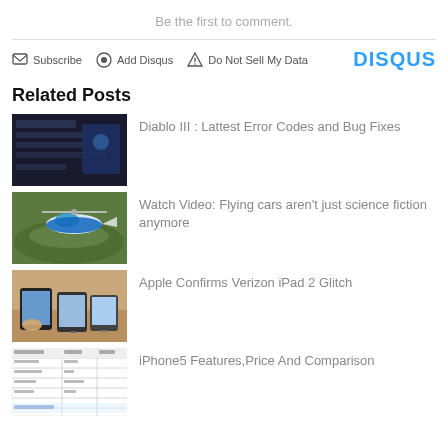Be the first to comment.
Subscribe  Add Disqus  Do Not Sell My Data  DISQUS
Related Posts
[Figure (screenshot): Thumbnail of Diablo III article showing dark game UI screenshot]
Diablo III : Lattest Error Codes and Bug Fixes
[Figure (photo): Aerial photo of a blue and white flying car / gyrocopter over countryside]
Watch Video: Flying cars aren't just science fiction anymore
[Figure (photo): Photo of people using tablets/iPads on a table]
Apple Confirms Verizon iPad 2 Glitch
[Figure (table-as-image): Thumbnail showing iPhone5 features comparison table]
iPhone5 Features,Price And Comparison